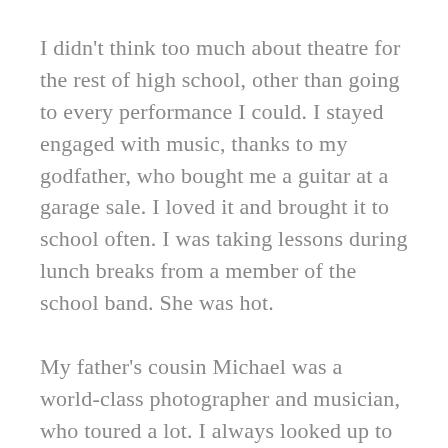I didn't think too much about theatre for the rest of high school, other than going to every performance I could. I stayed engaged with music, thanks to my godfather, who bought me a guitar at a garage sale. I loved it and brought it to school often. I was taking lessons during lunch breaks from a member of the school band. She was hot.
My father's cousin Michael was a world-class photographer and musician, who toured a lot. I always looked up to him. He played with the Eagles from time to time and many of the sixties bands. He lived on the West Coast, but would visit